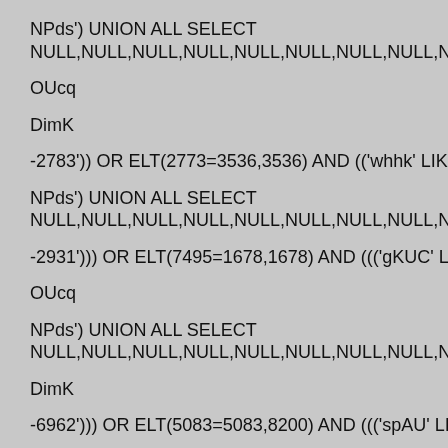NPds') UNION ALL SELECT NULL,NULL,NULL,NULL,NULL,NULL,NULL,NULL,NULL,NULL,NUL
OUcq
DimK
-2783')) OR ELT(2773=3536,3536) AND (('whhk' LIKE 'whhk
NPds') UNION ALL SELECT NULL,NULL,NULL,NULL,NULL,NULL,NULL,NULL,NULL,NULL,NUL
-2931'))) OR ELT(7495=1678,1678) AND ((('gKUC' LIKE 'gKUC
OUcq
NPds') UNION ALL SELECT NULL,NULL,NULL,NULL,NULL,NULL,NULL,NULL,NULL,NULL,NUL
DimK
-6962'))) OR ELT(5083=5083,8200) AND ((('spAU' LIKE 'spAU
OUcq
NPds') UNION ALL SELECT